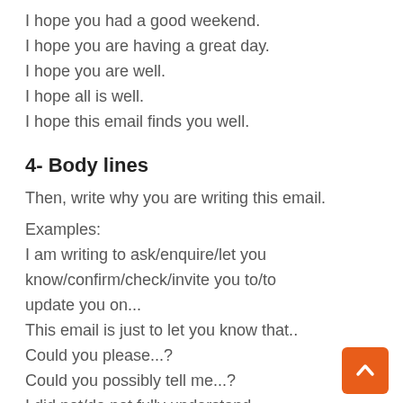I hope you had a good weekend.
I hope you are having a great day.
I hope you are well.
I hope all is well.
I hope this email finds you well.
4- Body lines
Then, write why you are writing this email.
Examples:
I am writing to ask/enquire/let you know/confirm/check/invite you to/to update you on...
This email is just to let you know that..
Could you please...?
Could you possibly tell me...?
I did not/do not fully understand [something]. Could you please explain
[Figure (other): Orange scroll-to-top button with upward chevron arrow in bottom right corner]